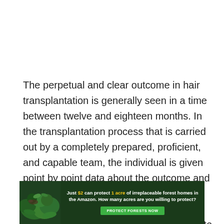The perpetual and clear outcome in hair transplantation is generally seen in a time between twelve and eighteen months. In the transplantation process that is carried out by a completely prepared, proficient, and capable team, the individual is given point by point data about the outcome and the healing cycle previously, during, and following the transplantation. The photographs show the normal outcomes to the individual. Along these lines, the
[Figure (infographic): Advertisement banner: 'Just $2 can protect 1 acre of irreplaceable forest homes in the Amazon. How many acres are you willing to protect?' with a green 'PROTECT FORESTS NOW' button and a rainforest background image.]